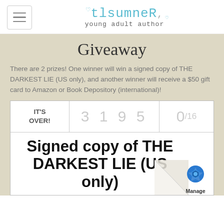tlsumner young adult author
Giveaway
There are 2 prizes! One winner will win a signed copy of THE DARKEST LIE (US only), and another winner will receive a $50 gift card to Amazon or Book Depository (international)!
[Figure (screenshot): Rafflecopter giveaway widget showing IT'S OVER! with 3195 entries, 0/16 slots, and prize text: Signed copy of THE DARKEST LIE (US only). A Manage badge appears in the bottom right corner.]